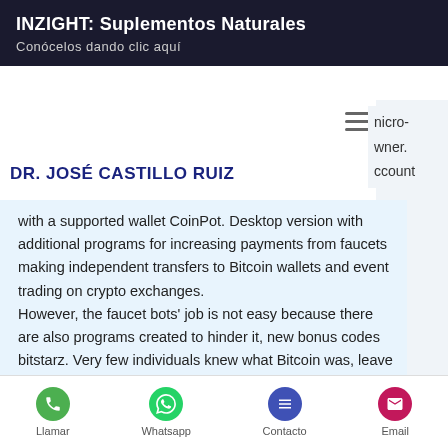INZIGHT: Suplementos Naturales
Conócelos dando clic aquí
DR. JOSÉ CASTILLO RUIZ
with a supported wallet CoinPot. Desktop version with additional programs for increasing payments from faucets making independent transfers to Bitcoin wallets and event trading on crypto exchanges. However, the faucet bots' job is not easy because there are also programs created to hinder it, new bonus codes bitstarz. Very few individuals knew what Bitcoin was, leave alone how to obtain bitcoins, and invest in it, new bonus codes bitstarz. Bitcoin faucet rewards were introduced to give people a
Llamar  Whatsapp  Contacto  Email